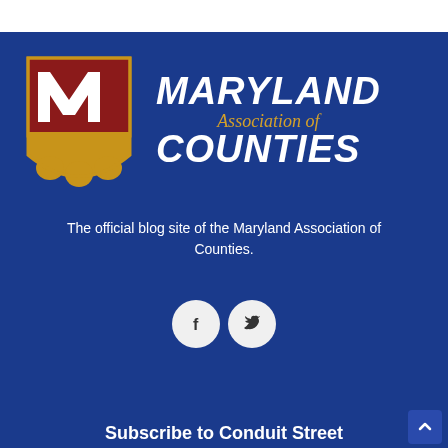[Figure (logo): Maryland Association of Counties logo with shield emblem (red square with white M letter on top, gold/yellow decorative base) and text MARYLAND Association of COUNTIES in white and gold italic font on dark blue background]
The official blog site of the Maryland Association of Counties.
[Figure (illustration): Two circular social media icons on dark blue background: Facebook (f) and Twitter (bird) icons in white on light grey circles]
Subscribe to Conduit Street